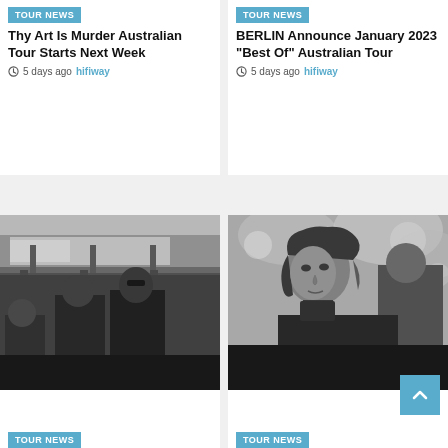[Figure (photo): Top-left card: Tour News badge, article title 'Thy Art Is Murder Australian Tour Starts Next Week', meta '5 days ago hifiway']
[Figure (photo): Top-right card: Tour News badge, article title 'BERLIN Announce January 2023 "Best Of" Australian Tour', meta '5 days ago hifiway']
[Figure (photo): Middle-left: Black and white photo of a band (3 men) under an elevated train/railway structure]
[Figure (photo): Middle-right: Black and white close-up photo of a young man with medium-length hair, another person partially visible behind]
[Figure (photo): Bottom-left card: Tour News badge]
[Figure (photo): Bottom-right card: Tour News badge]